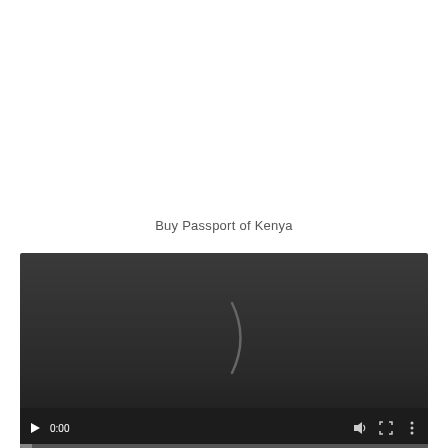Buy Passport of Kenya
[Figure (screenshot): Embedded video player showing a dark/black screen with a loading spinner arc in the center. Controls at the bottom show a play button, time display '0:00', volume icon, fullscreen icon, and options menu icon. A progress bar is visible at the very bottom.]